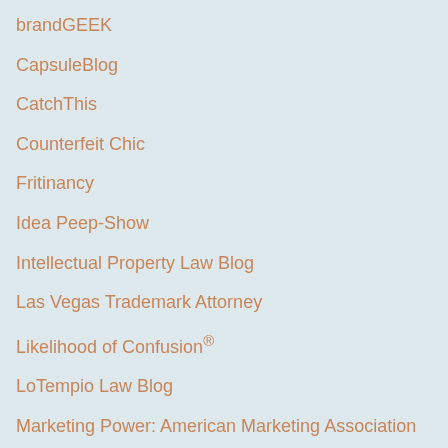brandGEEK
CapsuleBlog
CatchThis
Counterfeit Chic
Fritinancy
Idea Peep-Show
Intellectual Property Law Blog
Las Vegas Trademark Attorney
Likelihood of Confusion®
LoTempio Law Blog
Marketing Power: American Marketing Association
Name Wire: The Product Naming Blog